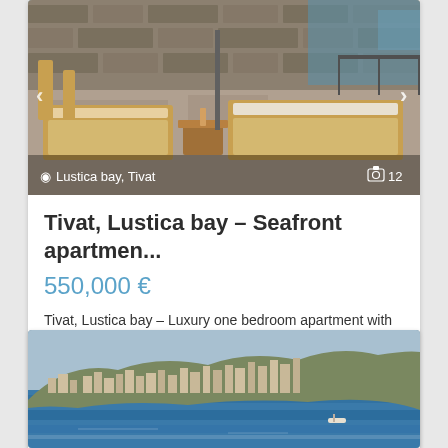[Figure (photo): Outdoor terrace with wooden sun loungers and chairs, stone wall in background, sea visible, at Lustica bay Tivat property]
Tivat, Lustica bay – Seafront apartmen...
550,000 €
Tivat, Lustica bay – Luxury one bedroom apartment with large terrace on the seafront This apartment is locate [more]
1  1  105,00 m²  full info
[Figure (photo): Aerial view of coastal town with dense buildings on hillside meeting the sea, Montenegro]